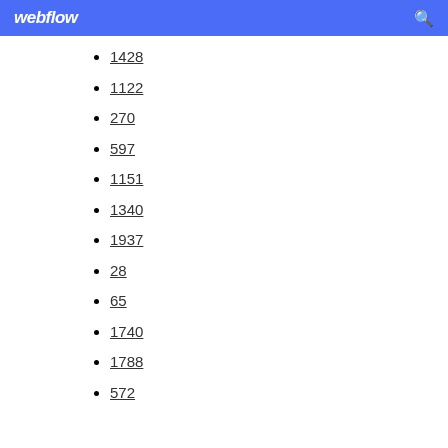webflow
1428
1122
270
597
1151
1340
1937
28
65
1740
1788
572